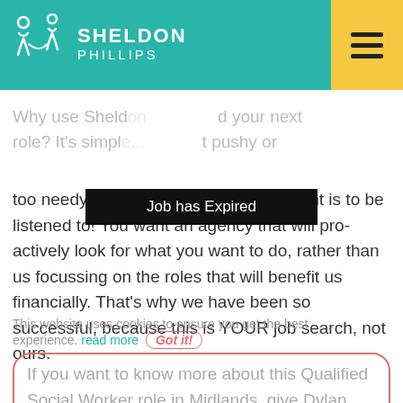SHELDON PHILLIPS
Job has Expired
Why use Sheldon ... your next role? It's simpl... ...t pushy or too needy.....we know that what you want is to be listened to! You want an agency that will pro-actively look for what you want to do, rather than us focussing on the roles that will benefit us financially. That's why we have been so successful, because this is YOUR job search, not ours.
This website uses cookies to ensure you get the best experience. read more Got it!
If you want to know more about this Qualified Social Worker role in Midlands, give Dylan Suppo a call on 01635 226350.
Oh, and if you pass our details onto a friend...